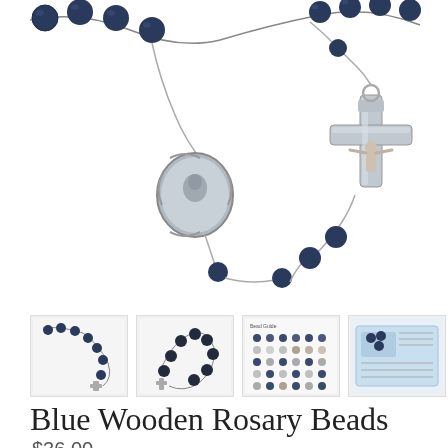[Figure (photo): Close-up photograph of blue wooden rosary beads with silver crucifix and religious medallion center piece, on white background]
[Figure (photo): Row of four thumbnail images showing the blue wooden rosary from different angles and a packaging/instruction card]
Blue Wooden Rosary Beads
$36.00